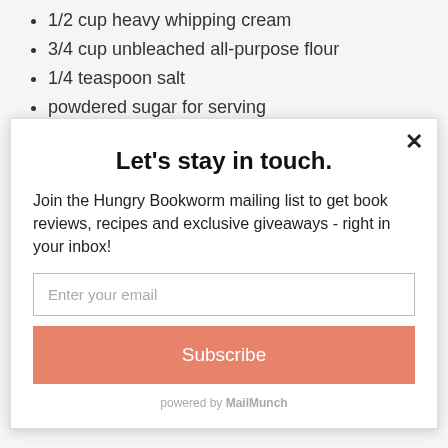1/2 cup heavy whipping cream
3/4 cup unbleached all-purpose flour
1/4 teaspoon salt
powdered sugar for serving
Instructions
Let's stay in touch.
Join the Hungry Bookworm mailing list to get book reviews, recipes and exclusive giveaways - right in your inbox!
Enter your email
Subscribe
powered by MailMunch